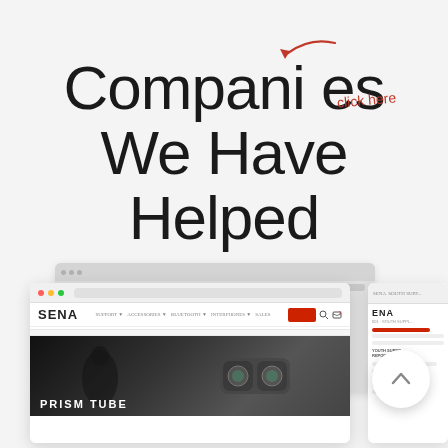Companies We Have Helped
[Figure (screenshot): Screenshot of browser windows showing the SENA website with a product page featuring 'PRISM TUBE' optics/scope product, with a circular back-to-top button overlay.]